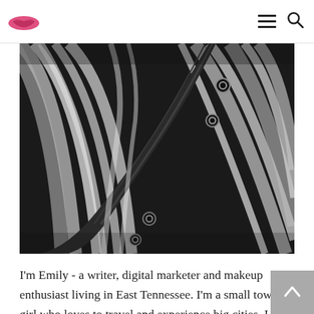[Blog logo with lips icon] [hamburger menu icon] [search icon]
[Figure (photo): Black and white close-up photograph of long straight blonde/light hair with a dark fabric strap or harness running diagonally, with metal eyelets/grommets visible]
I'm Emily - a writer, digital marketer and makeup enthusiast living in East Tennessee. I'm a small town girl who loves to travel and experience big cities. I can't wait to connect with